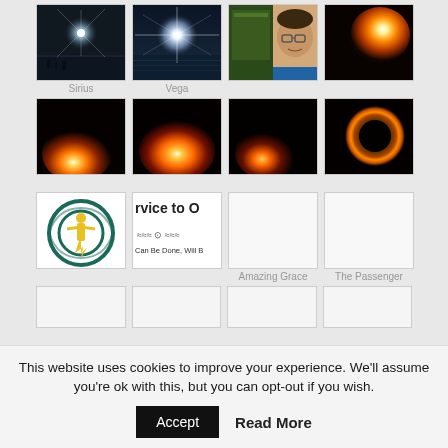[Figure (photo): Grid of thumbnail images: Row 1: Sirius star photo (night sky with bright star), Vega star photo (bright star over water), person with glasses (book cover), orange glowing blob on black background. Row 2: Four orange glow/celestial thumbnails on black backgrounds. Row 3: Blue circular logo with yellow figure, partial logo text 'rvice to o / Can Be Done, Will B', two white blank thumbnails. Row 4: Four mostly blank white thumbnails.]
Sirius
Vega
Amazing Grace
The Passenger
This website uses cookies to improve your experience. We'll assume you're ok with this, but you can opt-out if you wish.
Accept
Read More